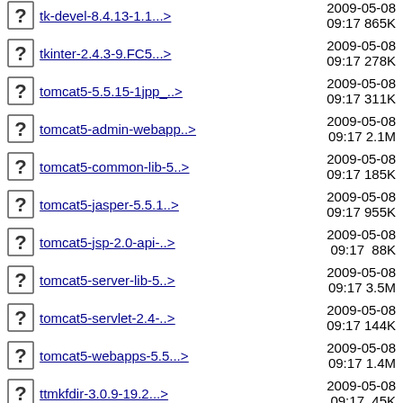tkinter-2.4.3-9.FC5...> 2009-05-08 09:17 278K
tomcat5-5.5.15-1jpp_..> 2009-05-08 09:17 311K
tomcat5-admin-webapp..> 2009-05-08 09:17 2.1M
tomcat5-common-lib-5..> 2009-05-08 09:17 185K
tomcat5-jasper-5.5.1..> 2009-05-08 09:17 955K
tomcat5-jsp-2.0-api-..> 2009-05-08 09:17 88K
tomcat5-server-lib-5..> 2009-05-08 09:17 3.5M
tomcat5-servlet-2.4-..> 2009-05-08 09:17 144K
tomcat5-webapps-5.5...> 2009-05-08 09:17 1.4M
ttmkfdir-3.0.9-19.2...> 2009-05-08 09:17 45K
tzdata-2007f-1.fc5.n..> 2009-05-08 09:17 450K